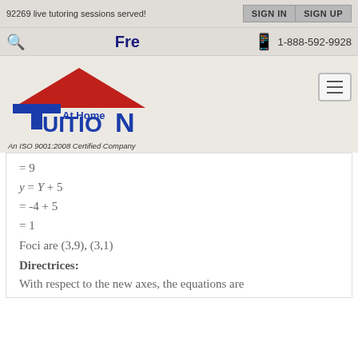92269 live tutoring sessions served!
SIGN IN | SIGN UP
Fre | 1-888-592-9928
[Figure (logo): At Home Tuition logo with red roof triangle and blue bold text. An ISO 9001:2008 Certified Company]
Foci are (3,9), (3,1)
Directrices:
With respect to the new axes, the equations are